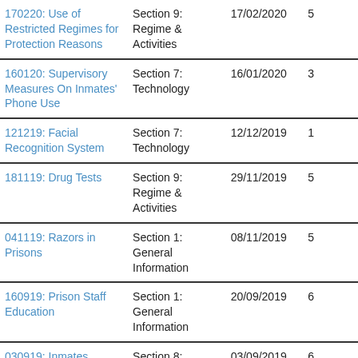| Title | Section | Date | Num |  |
| --- | --- | --- | --- | --- |
| 170220: Use of Restricted Regimes for Protection Reasons | Section 9: Regime & Activities | 17/02/2020 | 5 |  |
| 160120: Supervisory Measures On Inmates' Phone Use | Section 7: Technology | 16/01/2020 | 3 |  |
| 121219: Facial Recognition System | Section 7: Technology | 12/12/2019 | 1 |  |
| 181119: Drug Tests | Section 9: Regime & Activities | 29/11/2019 | 5 |  |
| 041119: Razors in Prisons | Section 1: General Information | 08/11/2019 | 5 |  |
| 160919: Prison Staff Education | Section 1: General Information | 20/09/2019 | 6 |  |
| 030919: Inmates Labour and Salary | Section 8: Finance | 03/09/2019 | 6 |  |